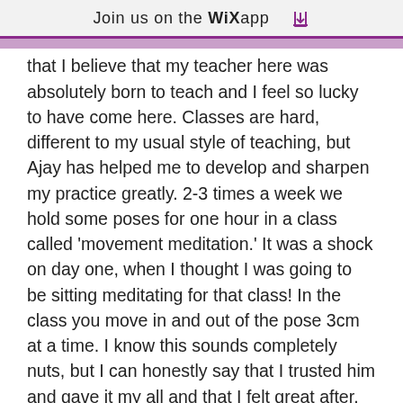Join us on the WiX app
that I believe that my teacher here was absolutely born to teach and I feel so lucky to have come here. Classes are hard, different to my usual style of teaching, but Ajay has helped me to develop and sharpen my practice greatly. 2-3 times a week we hold some poses for one hour in a class called 'movement meditation.' It was a shock on day one, when I thought I was going to be sitting meditating for that class! In the class you move in and out of the pose 3cm at a time. I know this sounds completely nuts, but I can honestly say that I trusted him and gave it my all and that I felt great after.